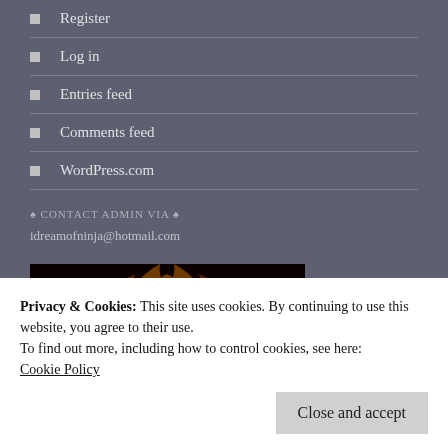Register
Log in
Entries feed
Comments feed
WordPress.com
♠ CONTACT ADMIN VIA ♠
idreamofninja@hotmail.com
[Figure (photo): A phoenix bird rising in flames with red and orange fire background]
Privacy & Cookies: This site uses cookies. By continuing to use this website, you agree to their use.
To find out more, including how to control cookies, see here:
Cookie Policy
Close and accept